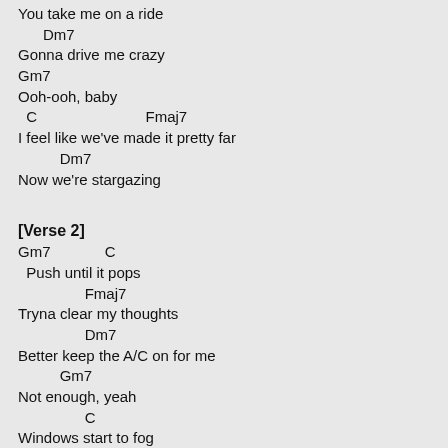You take me on a ride
Dm7
Gonna drive me crazy
Gm7
Ooh-ooh, baby
C                          Fmaj7
I feel like we've made it pretty far
Dm7
Now we're stargazing
[Verse 2]
Gm7             C
Push until it pops
Fmaj7
Tryna clear my thoughts
Dm7
Better keep the A/C on for me
Gm7
Not enough, yeah
C
Windows start to fog
Fmaj7